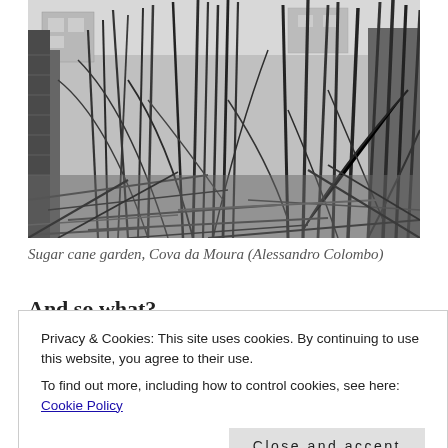[Figure (photo): Black and white photograph of a sugar cane garden in Cova da Moura, showing tall sugar cane plants growing densely in an urban vacant lot surrounded by block walls and buildings in the background. Photo credit: Alessandro Colombo.]
Sugar cane garden, Cova da Moura (Alessandro Colombo)
And so what?
Privacy & Cookies: This site uses cookies. By continuing to use this website, you agree to their use.
To find out more, including how to control cookies, see here: Cookie Policy